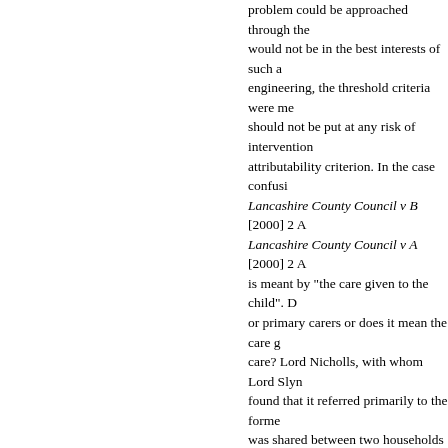problem could be approached through the care given to the child would not be in the best interests of such a child. By engineering, the threshold criteria were met, but the child should not be put at any risk of intervention on the attributability criterion. In the case confusion arises from Lancashire County Council v B [2000] 2 A and Lancashire County Council v A [2000] 2 A is meant by "the care given to the child". D or primary carers or does it mean the care given care? Lord Nicholls, with whom Lord Slyn found that it referred primarily to the former was shared between two households and the responsible for the harm suffered by the ch the care given by the parents or other prima by any of the carers" (p 166). Thus the crite had been injured, even though this might ha received from her childminder rather than f
22. Lord Clyde put the test in this helpful w
"That the harm must be attributable t harm must be attributable to the acts the child and the acts or omissions m care. To have the care of a child com duty of care towards the child may ex looking after the child."
23. However, it is worth noting that the Co were not satisfied in respect of the childmin